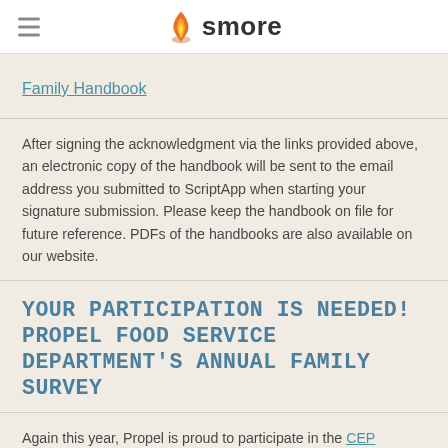smore
Family Handbook
After signing the acknowledgment via the links provided above, an electronic copy of the handbook will be sent to the email address you submitted to ScriptApp when starting your signature submission. Please keep the handbook on file for future reference. PDFs of the handbooks are also available on our website.
YOUR PARTICIPATION IS NEEDED! PROPEL FOOD SERVICE DEPARTMENT'S ANNUAL FAMILY SURVEY
Again this year, Propel is proud to participate in the CEP (Comunity Eligibility Provision) program. This program allows Propel to offer free meals (breakfast and lunch)